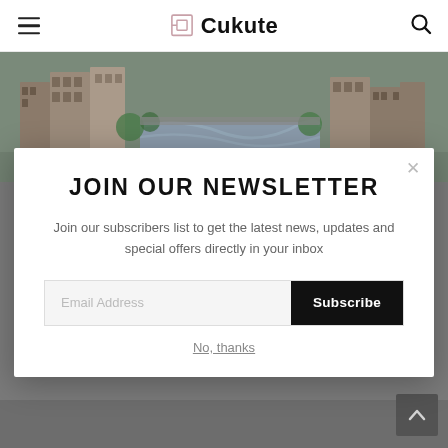Cukute
[Figure (photo): Aerial view of a town with buildings along a turbulent river, overcast sky]
JOIN OUR NEWSLETTER
Join our subscribers list to get the latest news, updates and special offers directly in your inbox
Email Address — Subscribe button — No, thanks link